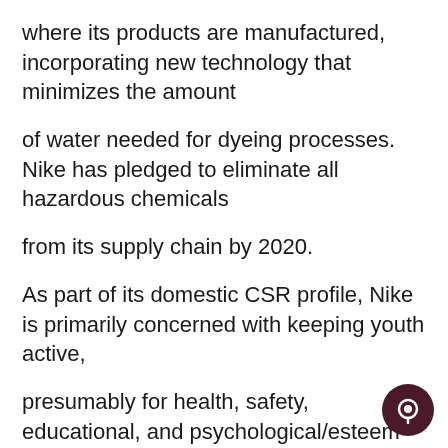where its products are manufactured, incorporating new technology that minimizes the amount
of water needed for dyeing processes. Nike has pledged to eliminate all hazardous chemicals
from its supply chain by 2020.
As part of its domestic CSR profile, Nike is primarily concerned with keeping youth active,
presumably for health, safety, educational, and psychological/esteem rea- sons. Nike has worked
with Head Start (2005) and Special Olympics Oregon (2007), as well as created its own com-
munity program, NikeGO, to advocate physical activity among youth. Partnering with the First
Lady Michelle Obama, Nike worked to implement the